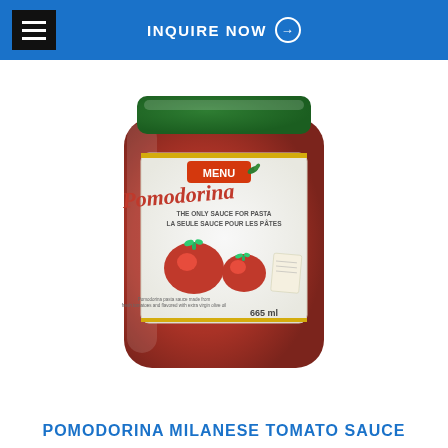INQUIRE NOW →
[Figure (photo): A glass jar of Pomodorina Milanese tomato sauce by Menu brand, showing label with tomatoes and product description, 665ml]
POMODORINA MILANESE TOMATO SAUCE